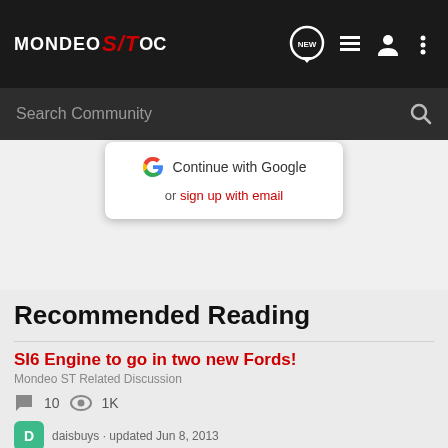MONDEO ST OC — navigation bar with search
Continue with Google
or sign up with email
Recommended Reading
SI6 Engine to go in two new Fords!
Mondeo ST Related Discussion
10 comments · 1K views
daisbuys · updated Jun 8, 2013